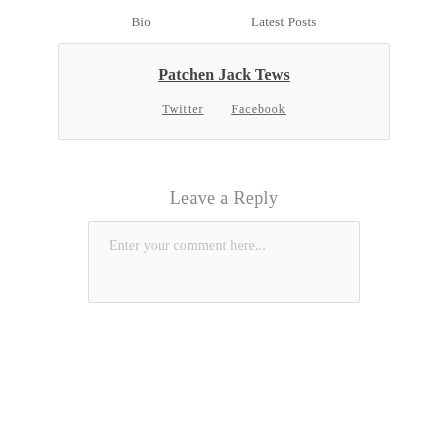Bio    Latest Posts
Patchen Jack Tews
Twitter   Facebook
Leave a Reply
Enter your comment here...